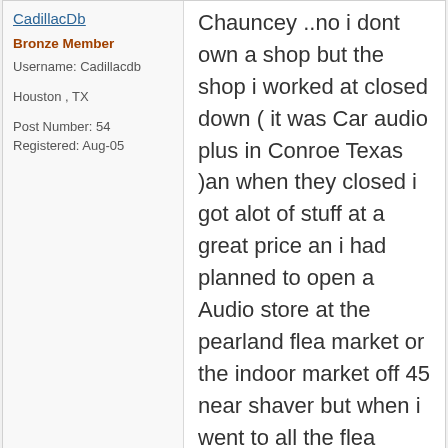CadillacDb
Bronze Member
Username: Cadillacdb
Houston , TX
Post Number: 54
Registered: Aug-05
Chauncey ..no i dont own a shop but the shop i worked at closed down ( it was Car audio plus in Conroe Texas )an when they closed i got alot of stuff at a great price an i had planned to open a Audio store at the pearland flea market or the indoor market off 45 near shaver but when i went to all the flea markets i found that there was already way too many audio places in the flea markets so i sold all the stuff to Audiotek in south houston but some of the stuff he already had too much of in